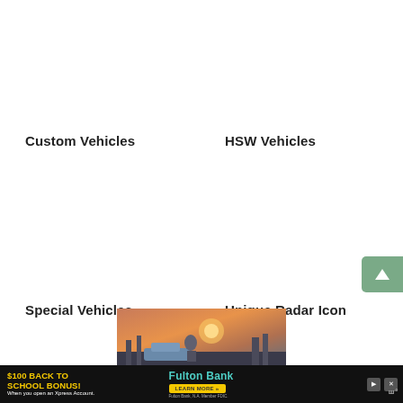Custom Vehicles
HSW Vehicles
Special Vehicles
Unique Radar Icon
[Figure (screenshot): Game screenshot showing a soldier on a vehicle in an urban environment with orange sunset sky]
[Figure (infographic): Advertisement banner: $100 Back to School Bonus from Fulton Bank with learn more button and WP logo]